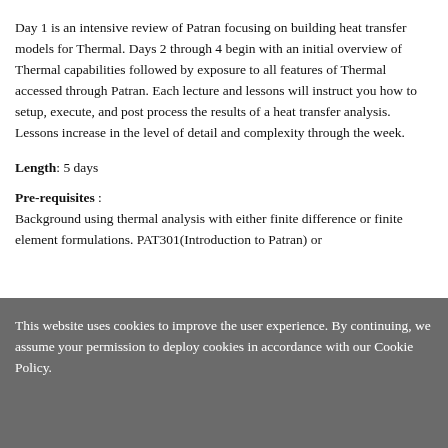Day 1 is an intensive review of Patran focusing on building heat transfer models for Thermal. Days 2 through 4 begin with an initial overview of Thermal capabilities followed by exposure to all features of Thermal accessed through Patran. Each lecture and lessons will instruct you how to setup, execute, and post process the results of a heat transfer analysis. Lessons increase in the level of detail and complexity through the week.
Length: 5 days
Pre-requisites : Background using thermal analysis with either finite difference or finite element formulations. PAT301(Introduction to Patran) or
This website uses cookies to improve the user experience. By continuing, we assume your permission to deploy cookies in accordance with our Cookie Policy.